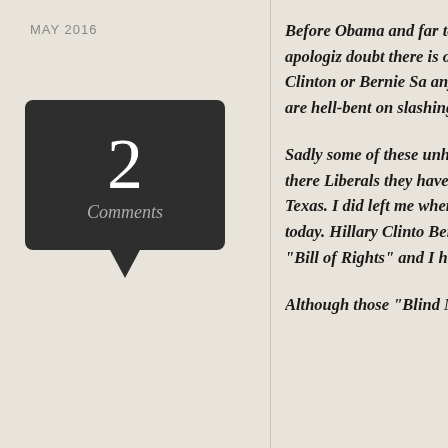MAY 2016
[Figure (other): Comment bubble icon showing the number 2 and the word 'Comments' on a dark background with a speech bubble pointer at the bottom]
Before Obama and far too many Progressives politicians, American leaders did not apologiz doubt there is one single American citizen, ill blindly supporting Hillary Clinton or Bernie Sa any of the following “FACTS”. In fact they wo did know as they are hell-bent on slashing ou eventually destroying the Constitution.
Sadly some of these unhappy folks are in my where they were educated or have lived there Liberals they have closed minds. As I have w before a Republican was alive in Texas. I did left me when it changed from being the Cons called the Socialist Party today. Hillary Clinto Bernie Sanders is an openly admitted Socialis Constitution or the “Bill of Rights” and I have group of robots I described in the first paragr
Although those “Blind Mice” will never b